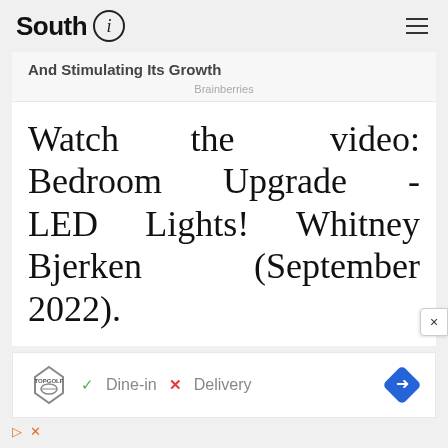South (i)
And Stimulating Its Growth
Brainberries
Watch the video: Bedroom Upgrade - LED Lights! Whitney Bjerken (September 2022).
[Figure (infographic): TopGolf advertisement showing Dine-in with green checkmark and Delivery with red X, and a blue diamond navigation arrow icon]
[Figure (infographic): Play and close ad controls at bottom left of advertisement strip]